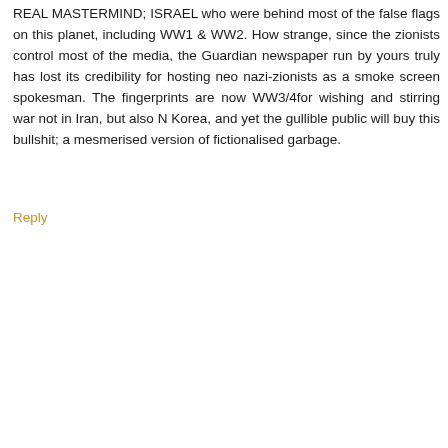REAL MASTERMIND; ISRAEL who were behind most of the false flags on this planet, including WW1 & WW2. How strange, since the zionists control most of the media, the Guardian newspaper run by yours truly has lost its credibility for hosting neo nazi-zionists as a smoke screen spokesman. The fingerprints are now WW3/4for wishing and stirring war not in Iran, but also N Korea, and yet the gullible public will buy this bullshit; a mesmerised version of fictionalised garbage.
Reply